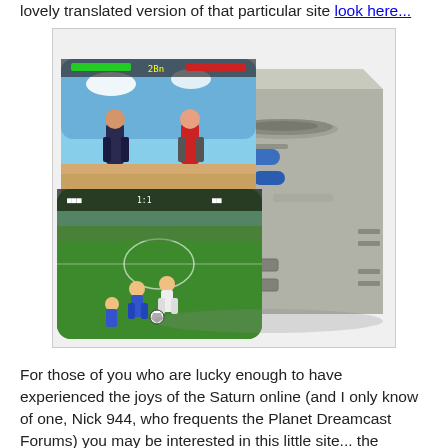lovely translated version of that particular site look here...
[Figure (photo): Sega Saturn/Dreamcast console with two game screenshots overlaid showing a fighting game and a soccer/football game]
For those of you who are lucky enough to have experienced the joys of the Saturn online (and I only know of one, Nick 944, who frequents the Planet Dreamcast Forums) you may be interested in this little site... the Saturn League which brings together those who wish to play the likes of Sega